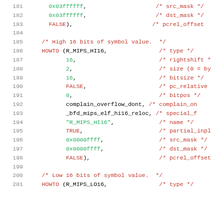Source code listing lines 181-201, MIPS ELF relocation howto table entries
181    0x03ffffff,    /* src_mask */
182    0x03ffffff,    /* dst_mask */
183    FALSE),         /* pcrel_offset
184
185    /* High 16 bits of symbol value.  */
186    HOWTO (R_MIPS_HI16,    /* type */
187    16,    /* rightshift *
188    2,    /* size (0 = by
189    16,    /* bitsize */
190    FALSE,    /* pc_relative
191    0,    /* bitpos */
192    complain_overflow_dont, /* complain_on
193    _bfd_mips_elf_hi16_reloc, /* special_f
194    "R_MIPS_HI16",    /* name */
195    TRUE,    /* partial_inpl
196    0x0000ffff,    /* src_mask */
197    0x0000ffff,    /* dst_mask */
198    FALSE),    /* pcrel_offset
199
200    /* Low 16 bits of symbol value.  */
201    HOWTO (R_MIPS_LO16,    /* type */